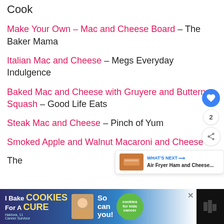Cook
Make Your Own – Mac and Cheese Board – The Baker Mama
Italian Mac and Cheese – Megs Everyday Indulgence
Baked Mac and Cheese with Gruyere and Butternut Squash – Good Life Eats
Steak Mac and Cheese – Pinch of Yum
Smoked Apple and Walnut Macaroni and Cheese –
The
[Figure (screenshot): Cookie fundraiser ad banner: 'I Bake COOKIES For A CURE' with photo and green circle. Haldora, 11 Cancer Survivor. So can you! cookies for kids cancer.]
[Figure (screenshot): What's Next widget: Air Fryer Ham and Cheese...]
[Figure (infographic): Social sidebar: blue heart button, count 2, share button]